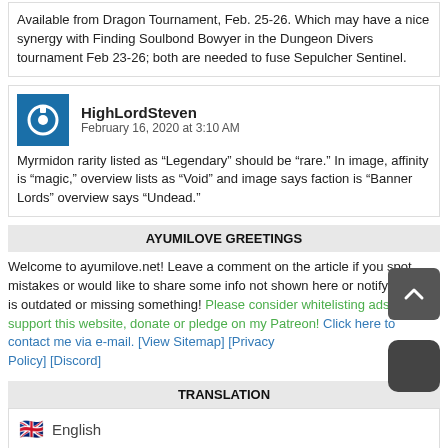Available from Dragon Tournament, Feb. 25-26. Which may have a nice synergy with Finding Soulbond Bowyer in the Dungeon Divers tournament Feb 23-26; both are needed to fuse Sepulcher Sentinel.
HighLordSteven
February 16, 2020 at 3:10 AM
Myrmidon rarity listed as “Legendary” should be “rare.” In image, affinity is “magic,” overview lists as “Void” and image says faction is “Banner Lords” overview says “Undead.”
AYUMILOVE GREETINGS
Welcome to ayumilove.net! Leave a comment on the article if you spot mistakes or would like to share some info not shown here or notify if guide is outdated or missing something! Please consider whitelisting ads here to support this website, donate or pledge on my Patreon! Click here to contact me via e-mail. [View Sitemap] [Privacy Policy] [Discord]
TRANSLATION
English
GETTING STARTED
Awaken Chaos Era
Raider Online